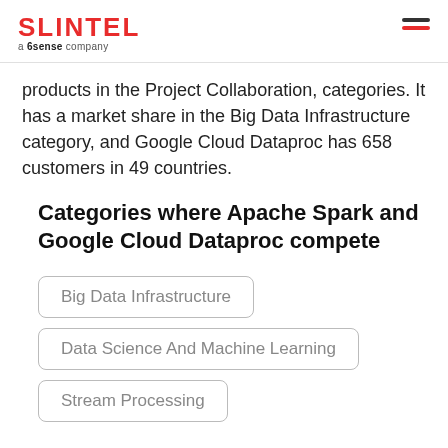SLINTEL a 6sense company
products in the Project Collaboration, categories. It has a market share in the Big Data Infrastructure category, and Google Cloud Dataproc has 658 customers in 49 countries.
Categories where Apache Spark and Google Cloud Dataproc compete
Big Data Infrastructure
Data Science And Machine Learning
Stream Processing